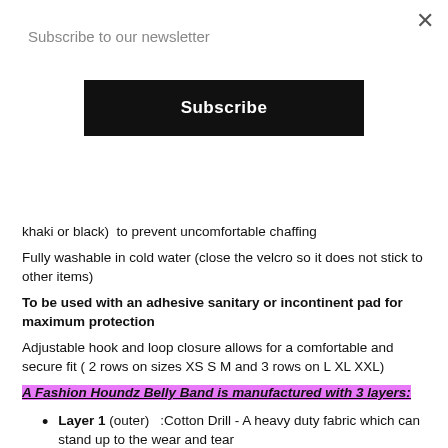Subscribe to our newsletter
Subscribe
khaki or black)  to prevent uncomfortable chaffing
Fully washable in cold water (close the velcro so it does not stick to other items)
To be used with an adhesive sanitary or incontinent pad for maximum protection
Adjustable hook and loop closure allows for a comfortable and secure fit ( 2 rows on sizes XS S M and 3 rows on L XL XXL)
A Fashion Houndz Belly Band is manufactured with 3 layers:
Layer 1 (outer)   :Cotton Drill - A heavy duty fabric which can stand up to the wear and tear
Layer 2 (middle) : Bamboo - A hygienic absorbent fabric
Layer 3 (inner)    : PUL-  A hospital grade, water resistant, breathable fabric